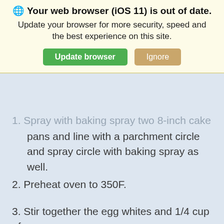[Figure (screenshot): Browser warning overlay with globe icon reading 'Your web browser (iOS 11) is out of date. Update your browser for more security, speed and the best experience on this site.' with green 'Update browser' button and tan 'Ignore' button on a cream background.]
1. Spray with baking spray two 8-inch cake pans and line with a parchment circle and spray circle with baking spray as well.
2. Preheat oven to 350F.
3. Stir together the egg whites and 1/4 cup of the milk in a small bowl and set aside.
4. Sift flour, sugar, baking powder, and salt and put into the bowl of a stand mixer fitted with the paddle attachment.
5. Mix on low until combined.
6. With the mixer on low, add the butter vanilla, and the remaining milk until the dry